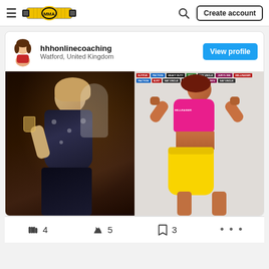≡  MMA  🔍  Create account
hhhonlinecoaching
Watford, United Kingdom
View profile
[Figure (photo): Before and after transformation photo. Left: woman in a black floral dress holding a drink at a social event. Right: woman in pink sports bra and yellow shorts, posing flexing biceps in front of a sponsor backdrop with logos including HELLRAISER, B-FITUK, HEAVY DUTY, SUB, SAY UNCLE, JURYS INN, PACTION.]
4  5  3  ...